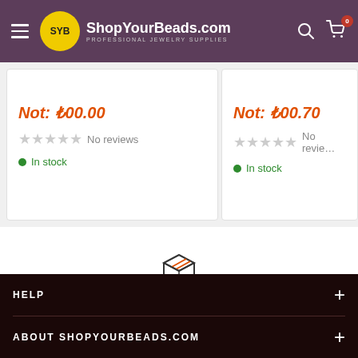ShopYourBeads.com — PROFESSIONAL JEWELRY SUPPLIES
No reviews — In stock (card 1)
No reviews — In stock (card 2)
[Figure (illustration): Box/package icon outline with orange diagonal lines on top face]
Free delivery worldwide
free shipping over $35
HELP
ABOUT SHOPYOURBEADS.COM